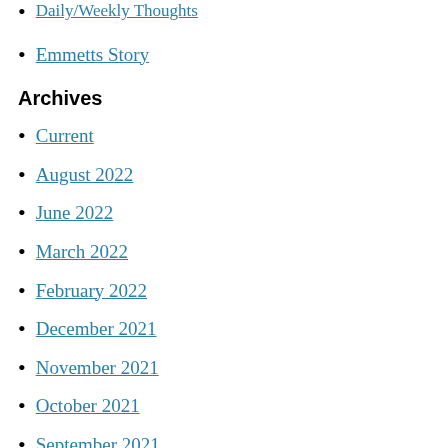Daily/Weekly Thoughts
Emmetts Story
Archives
Current
August 2022
June 2022
March 2022
February 2022
December 2021
November 2021
October 2021
September 2021
August 2021